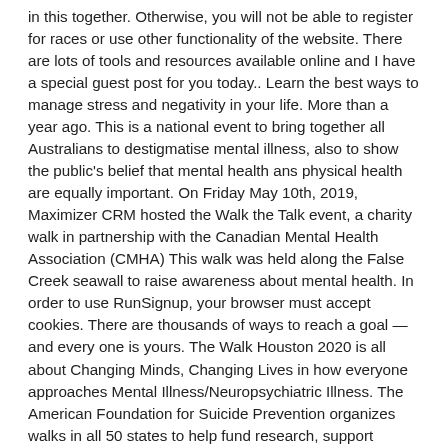in this together. Otherwise, you will not be able to register for races or use other functionality of the website. There are lots of tools and resources available online and I have a special guest post for you today.. Learn the best ways to manage stress and negativity in your life. More than a year ago. This is a national event to bring together all Australians to destigmatise mental illness, also to show the public's belief that mental health ans physical health are equally important. On Friday May 10th, 2019, Maximizer CRM hosted the Walk the Talk event, a charity walk in partnership with the Canadian Mental Health Association (CMHA) This walk was held along the False Creek seawall to raise awareness about mental health. In order to use RunSignup, your browser must accept cookies. There are thousands of ways to reach a goal — and every one is yours. The Walk Houston 2020 is all about Changing Minds, Changing Lives in how everyone approaches Mental Illness/Neuropsychiatric Illness. The American Foundation for Suicide Prevention organizes walks in all 50 states to help fund research, support survivors, promote education, and champion for policy change. On the day of the event, NAMIWalks participants, mental health advocates, and NAMI partners will step up our strength and energy even further. Started by Dr. Adel B. Korkor, the Five Fifty Fifty 5K series takes place in all 50 states across 50 days with a mission to increase awareness, conversation, and action around mental health. With prevention at the heart of what they do, the charity aims to find and address the sources... NAMIWalks is the largest mental health